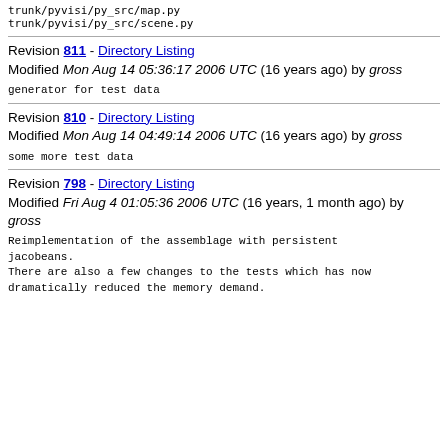trunk/pyvisi/py_src/map.py
trunk/pyvisi/py_src/scene.py
Revision 811 - Directory Listing
Modified Mon Aug 14 05:36:17 2006 UTC (16 years ago) by gross
generator for test data
Revision 810 - Directory Listing
Modified Mon Aug 14 04:49:14 2006 UTC (16 years ago) by gross
some more test data
Revision 798 - Directory Listing
Modified Fri Aug 4 01:05:36 2006 UTC (16 years, 1 month ago) by gross
Reimplementation of the assemblage with persistent jacobeans.
There are also a few changes to the tests which has now dramatically reduced the memory demand.